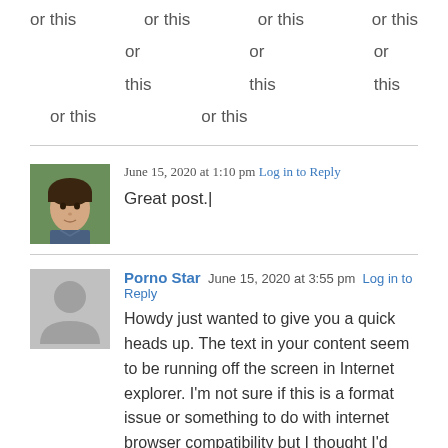or this   or this   or this   or this
   or this      or this      or this
or this      or this
June 15, 2020 at 1:10 pm Log in to Reply
Great post.|
Porno Star  June 15, 2020 at 3:55 pm  Log in to Reply
Howdy just wanted to give you a quick heads up. The text in your content seem to be running off the screen in Internet explorer. I'm not sure if this is a format issue or something to do with internet browser compatibility but I thought I'd post to let you know. The design look great though! Hope you get the issue